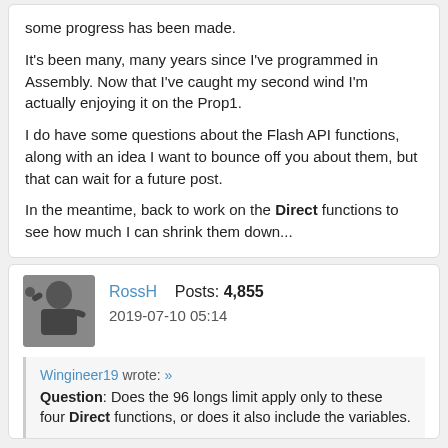some progress has been made.
It's been many, many years since I've programmed in Assembly. Now that I've caught my second wind I'm actually enjoying it on the Prop1.
I do have some questions about the Flash API functions, along with an idea I want to bounce off you about them, but that can wait for a future post.
In the meantime, back to work on the Direct functions to see how much I can shrink them down...
RossH   Posts: 4,855
2019-07-10 05:14
Wingineer19 wrote: »
Question: Does the 96 longs limit apply only to these four Direct functions, or does it also include the variables.